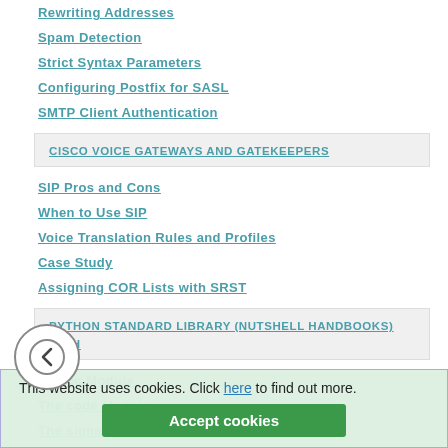Rewriting Addresses
Spam Detection
Strict Syntax Parameters
Configuring Postfix for SASL
SMTP Client Authentication
CISCO VOICE GATEWAYS AND GATEKEEPERS
SIP Pros and Cons
When to Use SIP
Voice Translation Rules and Profiles
Case Study
Assigning COR Lists with SRST
PYTHON STANDARD LIBRARY (NUTSHELL HANDBOOKS) WITH
The gc Module
The code Module
The signal Module
This website uses cookies. Click here to find out more.